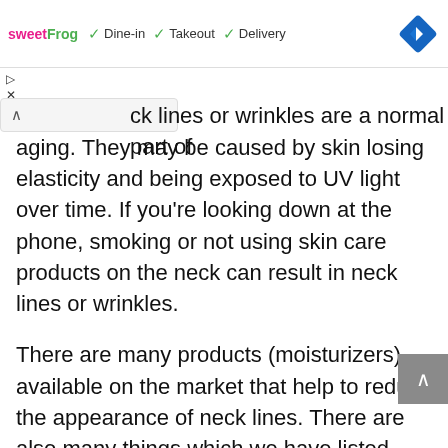[Figure (screenshot): Ad banner for sweetFrog with Dine-in, Takeout, Delivery checkmarks and navigation diamond icon]
ck lines or wrinkles are a normal part of aging. They may be caused by skin losing elasticity and being exposed to UV light over time. If you’re looking down at the phone, smoking or not using skin care products on the neck can result in neck lines or wrinkles.
There are many products (moisturizers) available on the market that help to reduce the appearance of neck lines. There are also many things which we have listed above, that can temporarily help to correct neck